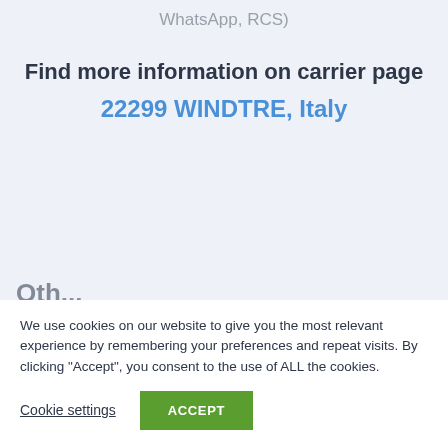WhatsApp, RCS)
Find more information on carrier page 22299 WINDTRE, Italy
We use cookies on our website to give you the most relevant experience by remembering your preferences and repeat visits. By clicking “Accept”, you consent to the use of ALL the cookies.
Cookie settings
ACCEPT